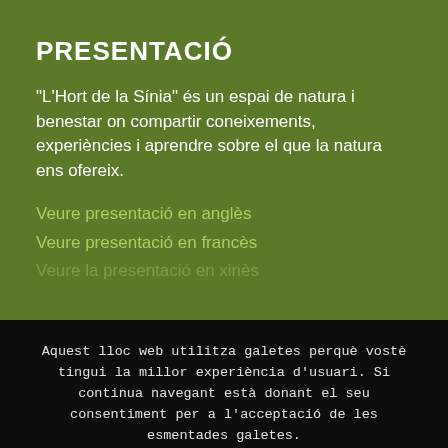PRESENTACIÓ
“L’Hort de la Sínia” és un espai de natura i benestar on compartir coneixements, experiències i aprendre sobre el que la natura ens ofereix.
Veure presentació en anglès
Veure presentació en franès
Veure la presentació en xinès
Aquest lloc web utilitza galetes perquè vostè tingui la millor experiència d'usuari. Si continua navegant està donant el seu consentiment per a l'acceptació de les esmentades galetes.
ACCEPTO
Més informació
© Copyright L'Hort de la Sínia. Tots els drets reservats | Mandigit
Avís Legal